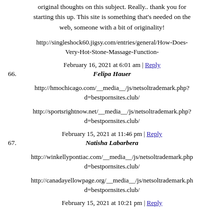original thoughts on this subject. Really.. thank you for starting this up. This site is something that's needed on the web, someone with a bit of originality!
http://singleshock60.jigsy.com/entries/general/How-Does-Very-Hot-Stone-Massage-Function-
February 16, 2021 at 6:01 am | Reply
66. Felipa Hauer
http://hmochicago.com/__media__/js/netsoltrademark.php?d=bestpornsites.club/
http://sportsrightnow.net/__media__/js/netsoltrademark.php?d=bestpornsites.club/
February 15, 2021 at 11:46 pm | Reply
67. Natisha Labarbera
http://winkellypontiac.com/__media__/js/netsoltrademark.php?d=bestpornsites.club/
http://canadayellowpage.org/__media__/js/netsoltrademark.php?d=bestpornsites.club/
February 15, 2021 at 10:21 pm | Reply